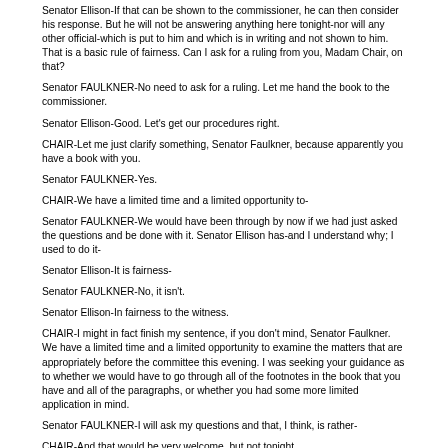Senator Ellison-If that can be shown to the commissioner, he can then consider his response. But he will not be answering anything here tonight-nor will any other official-which is put to him and which is in writing and not shown to him. That is a basic rule of fairness. Can I ask for a ruling from you, Madam Chair, on that?
Senator FAULKNER-No need to ask for a ruling. Let me hand the book to the commissioner.
Senator Ellison-Good. Let's get our procedures right.
CHAIR-Let me just clarify something, Senator Faulkner, because apparently you have a book with you.
Senator FAULKNER-Yes.
CHAIR-We have a limited time and a limited opportunity to-
Senator FAULKNER-We would have been through by now if we had just asked the questions and be done with it. Senator Ellison has-and I understand why; I used to do it-
Senator Ellison-It is fairness-
Senator FAULKNER-No, it isn't.
Senator Ellison-In fairness to the witness.
CHAIR-I might in fact finish my sentence, if you don't mind, Senator Faulkner. We have a limited time and a limited opportunity to examine the matters that are appropriately before the committee this evening. I was seeking your guidance as to whether we would have to go through all of the footnotes in the book that you have and all of the paragraphs, or whether you had some more limited application in mind.
Senator FAULKNER-I will ask my questions and that, I think, is rather-
CHAIR-And that would be very welcome, but not tonight.